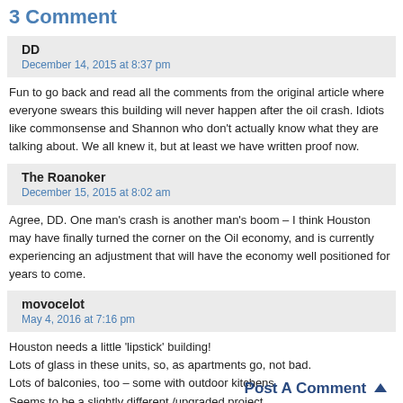3 Comment
DD
December 14, 2015 at 8:37 pm
Fun to go back and read all the comments from the original article where everyone swears this building will never happen after the oil crash. Idiots like commonsense and Shannon who don't actually know what they are talking about. We all knew it, but at least we have written proof now.
The Roanoker
December 15, 2015 at 8:02 am
Agree, DD. One man's crash is another man's boom – I think Houston may have finally turned the corner on the Oil economy, and is currently experiencing an adjustment that will have the economy well positioned for years to come.
movocelot
May 4, 2016 at 7:16 pm
Houston needs a little 'lipstick' building!
Lots of glass in these units, so, as apartments go, not bad.
Lots of balconies, too – some with outdoor kitchens.
Seems to be a slightly different /upgraded project.
Post A Comment